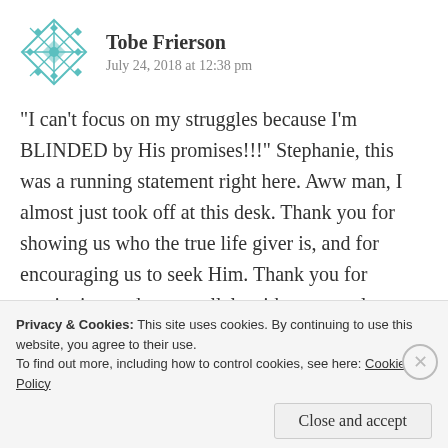[Figure (illustration): Teal snowflake/geometric avatar icon for user Tobe Frierson]
Tobe Frierson
July 24, 2018 at 12:38 pm
“I can’t focus on my struggles because I’m BLINDED by His promises!!!” Stephanie, this was a running statement right here. Aww man, I almost just took off at this desk. Thank you for showing us who the true life giver is, and for encouraging us to seek Him. Thank you for continuing to draw parallels with our popular
Privacy & Cookies: This site uses cookies. By continuing to use this website, you agree to their use.
To find out more, including how to control cookies, see here: Cookie Policy
Close and accept